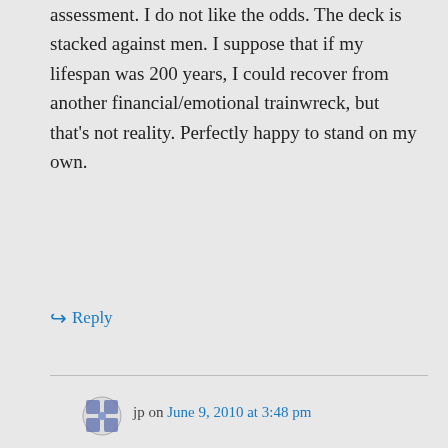assessment. I do not like the odds. The deck is stacked against men. I suppose that if my lifespan was 200 years, I could recover from another financial/emotional trainwreck, but that's not reality. Perfectly happy to stand on my own.
↪ Reply
[Figure (illustration): User avatar/gravatar icon for commenter 'jp']
jp on June 9, 2010 at 3:48 pm